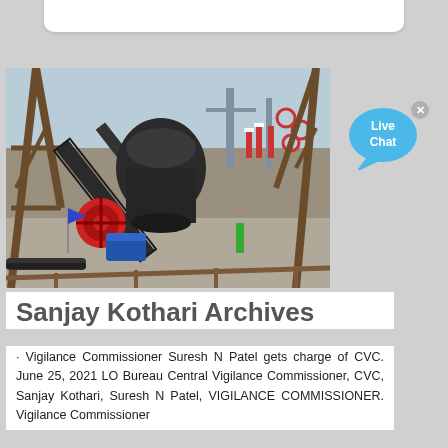[Figure (photo): Industrial mining/construction site with conveyor belts, crusher machinery, metal scaffolding, and construction equipment in background]
[Figure (illustration): Live Chat button - blue speech bubble with 'Live Chat' text and close (x) button]
Sanjay Kothari Archives
· Vigilance Commissioner Suresh N Patel gets charge of CVC. June 25, 2021 LO Bureau Central Vigilance Commissioner, CVC, Sanjay Kothari, Suresh N Patel, VIGILANCE COMMISSIONER. Vigilance Commissioner